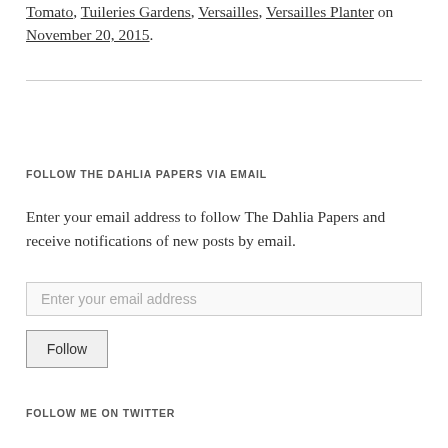Tomato, Tuileries Gardens, Versailles, Versailles Planter on November 20, 2015.
FOLLOW THE DAHLIA PAPERS VIA EMAIL
Enter your email address to follow The Dahlia Papers and receive notifications of new posts by email.
Enter your email address
Follow
FOLLOW ME ON TWITTER